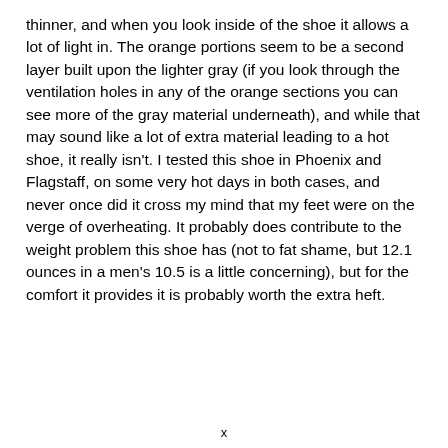thinner, and when you look inside of the shoe it allows a lot of light in. The orange portions seem to be a second layer built upon the lighter gray (if you look through the ventilation holes in any of the orange sections you can see more of the gray material underneath), and while that may sound like a lot of extra material leading to a hot shoe, it really isn't. I tested this shoe in Phoenix and Flagstaff, on some very hot days in both cases, and never once did it cross my mind that my feet were on the verge of overheating. It probably does contribute to the weight problem this shoe has (not to fat shame, but 12.1 ounces in a men's 10.5 is a little concerning), but for the comfort it provides it is probably worth the extra heft.
x